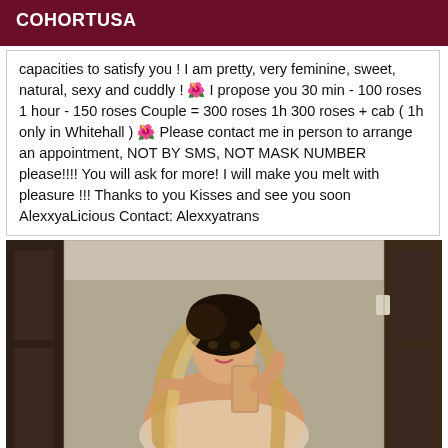COHORTUSA
capacities to satisfy you ! I am pretty, very feminine, sweet, natural, sexy and cuddly ! 🌺 I propose you 30 min - 100 roses 1 hour - 150 roses Couple = 300 roses 1h 300 roses + cab ( 1h only in Whitehall ) 🌺 Please contact me in person to arrange an appointment, NOT BY SMS, NOT MASK NUMBER please!!!! You will ask for more! I will make you melt with pleasure !!! Thanks to you Kisses and see you soon AlexxyaLicious Contact: Alexxyatrans
[Figure (photo): A person taking a selfie in a bathroom mirror, with long blonde highlighted hair, wearing a light-colored outfit, with wooden door panels visible in the background.]